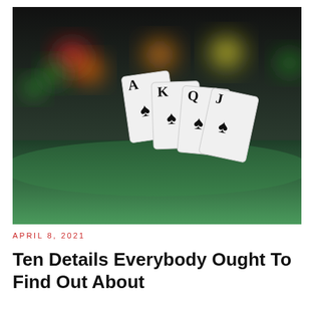[Figure (photo): Close-up photograph of four playing cards (Ace, King, Queen, Jack of Spades) standing upright on a green felt surface, with colorful bokeh lights (red, orange, green, yellow) in the dark background.]
APRIL 8, 2021
Ten Details Everybody Ought To Find Out About